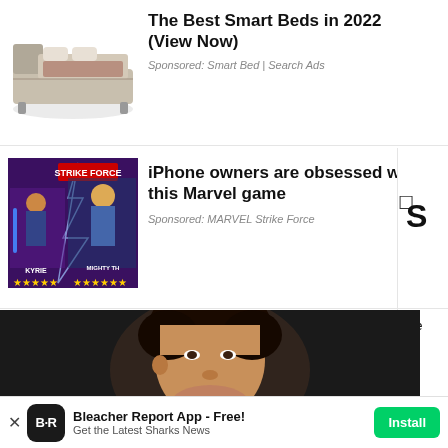[Figure (photo): Smart bed product photo - a futuristic-looking bed with modular sections]
The Best Smart Beds in 2022 (View Now)
Sponsored: Smart Bed | Search Ads
[Figure (photo): Marvel Strike Force game advertisement showing characters Kyrie and Mighty Thor with star ratings]
iPhone owners are obsessed with this Marvel game
Sponsored: MARVEL Strike Force
[Figure (photo): Photo of a man with dark curly hair smiling, dark background, with an X close button overlay]
Bleacher Report App - Free! Get the Latest Sharks News